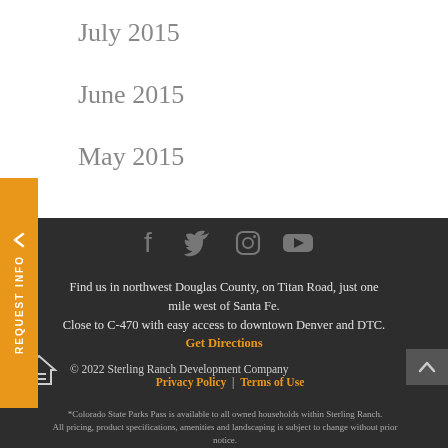July 2015
June 2015
May 2015
[Figure (illustration): Orange vertical sidebar tab with chevron icon and rotated text 'REQUEST INFO']
[Figure (illustration): Social media icons row: Facebook, Twitter, Instagram, YouTube (dark gray on dark background)]
Find us in northwest Douglas County, on Titan Road, just one mile west of Santa Fe. Close to C-470 with easy access to downtown Denver and DTC. Get Directions
[Figure (logo): Equal Housing Opportunity logo (house with equals sign)]
© 2022 Sterling Ranch Development Company Privacy Policy | Terms of Use
*Colorado State Parks Pass is available to all owned households within Sterling Ranch. All pricing, product specifications, amenities and landscaping is subject to change without prior notice.